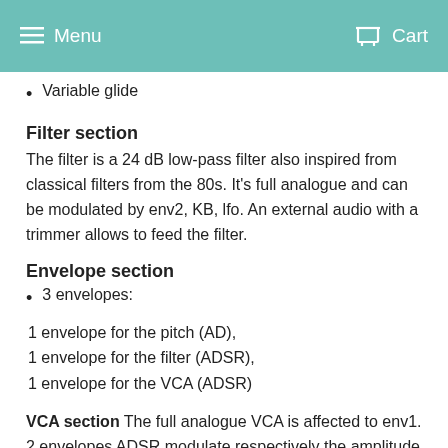Menu   Cart
Variable glide
Filter section
The filter is a 24 dB low-pass filter also inspired from classical filters from the 80s. It's full analogue and can be modulated by env2, KB, lfo. An external audio with a trimmer allows to feed the filter.
Envelope section
3 envelopes:
1 envelope for the pitch (AD),
1 envelope for the filter (ADSR),
1 envelope for the VCA (ADSR)
VCA section The full analogue VCA is affected to env1. 2 envelopes ADSR modulate respectively the amplitude and the